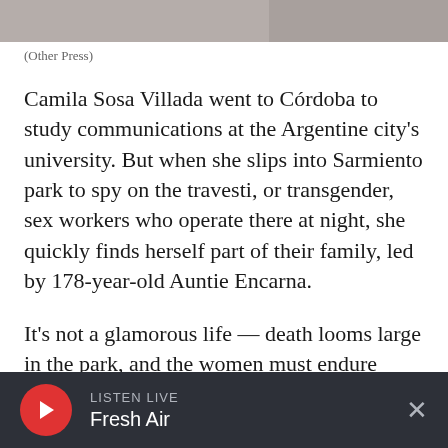[Figure (photo): Top portion of a photograph, partially cropped, showing muted gray/beige tones]
(Other Press)
Camila Sosa Villada went to Córdoba to study communications at the Argentine city's university. But when she slips into Sarmiento park to spy on the travesti, or transgender, sex workers who operate there at night, she quickly finds herself part of their family, led by 178-year-old Auntie Encarna.
It's not a glamorous life — death looms large in the park, and the women must endure constant brutality from their families, clients and other
LISTEN LIVE Fresh Air